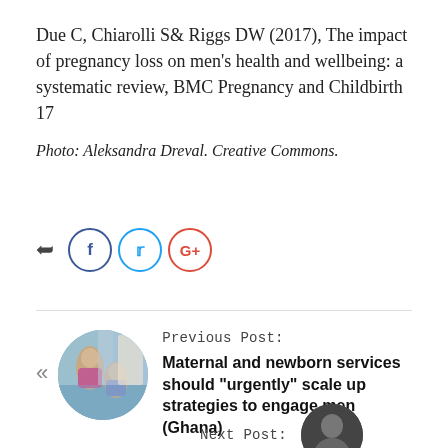Due C, Chiarolli S& Riggs DW (2017), The impact of pregnancy loss on men's health and wellbeing: a systematic review, BMC Pregnancy and Childbirth 17
Photo: Aleksandra Dreval. Creative Commons.
[Figure (other): Social share buttons: forward/share arrow, Facebook circle button, Twitter circle button, Google+ circle button]
Previous Post:
Maternal and newborn services should “urgently” scale up strategies to engage men (Ghana)
Next Post: